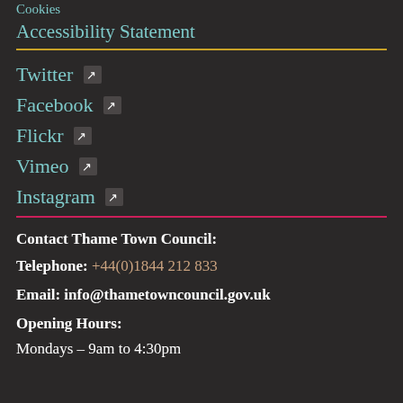Cookies
Accessibility Statement
Twitter ↗
Facebook ↗
Flickr ↗
Vimeo ↗
Instagram ↗
Contact Thame Town Council:
Telephone: +44(0)1844 212 833
Email: info@thametowncouncil.gov.uk
Opening Hours:
Mondays – 9am to 4:30pm